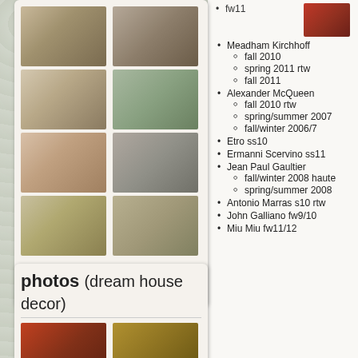[Figure (photo): Fashion photo grid showing 8 runway/editorial fashion images in a 2-column grid layout]
[...view...]
mar 19 2011 ∞
jul 3 2011 +
photos (dream house decor)
[Figure (photo): Two interior/decor photos side by side at bottom of left column]
[Figure (photo): Small fashion photo top right]
fw11
Meadham Kirchhoff
fall 2010
spring 2011 rtw
fall 2011
Alexander McQueen
fall 2010 rtw
spring/summer 2007
fall/winter 2006/7
Etro ss10
Ermanni Scervino ss11
Jean Paul Gaultier
fall/winter 2008 haute
spring/summer 2008
Antonio Marras s10 rtw
John Galliano fw9/10
Miu Miu fw11/12